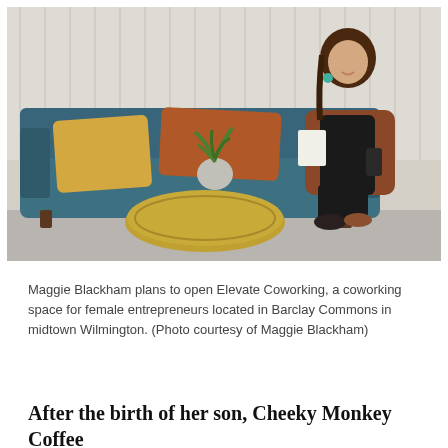[Figure (photo): Maggie Blackham sitting on a teal velvet sofa with yellow and orange cushions, holding papers and a phone, in front of a white curtain backdrop. A gold coffee table with a white vase and plant sits in front. She is wearing a rust-colored cardigan and black outfit.]
Maggie Blackham plans to open Elevate Coworking, a coworking space for female entrepreneurs located in Barclay Commons in midtown Wilmington. (Photo courtesy of Maggie Blackham)
After the birth of her son, Cheeky Monkey Coffee